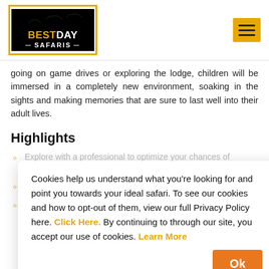[Figure (logo): Best Day Safaris logo with birds silhouette on yellow/black background]
going on game drives or exploring the lodge, children will be immersed in a completely new environment, soaking in the sights and making memories that are sure to last well into their adult lives.
Highlights
Cookies help us understand what you're looking for and point you towards your ideal safari. To see our cookies and how to opt-out of them, view our full Privacy Policy here. Click Here. By continuing to through our site, you accept our use of cookies. Learn More
Explore with a professional to optimize your chances of spotting wild animals.
Enjoy the personalized service of a private tour.
Avoid hidden costs with park fees, meals, and accommodation included